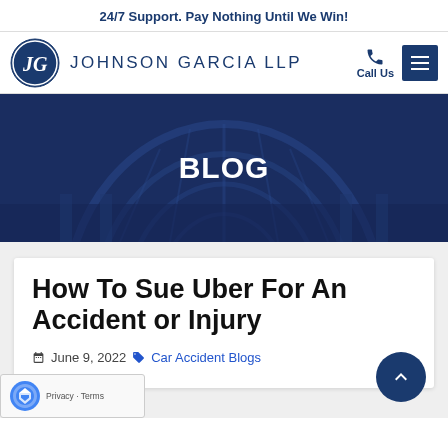24/7 Support. Pay Nothing Until We Win!
[Figure (logo): Johnson Garcia LLP law firm logo with circular JG monogram and navigation bar with Call Us button and menu icon]
[Figure (photo): Dark navy blue hero banner with dome/courthouse building in background and BLOG title text overlaid in white]
How To Sue Uber For An Accident or Injury
June 9, 2022  Car Accident Blogs